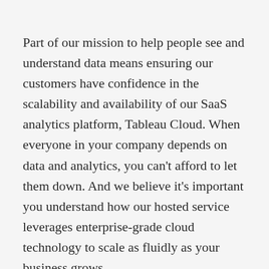Part of our mission to help people see and understand data means ensuring our customers have confidence in the scalability and availability of our SaaS analytics platform, Tableau Cloud. When everyone in your company depends on data and analytics, you can't afford to let them down. And we believe it's important you understand how our hosted service leverages enterprise-grade cloud technology to scale as fluidly as your business grows.
This whitepaper describes Tableau Cloud's high-level architecture and explains how the architecture